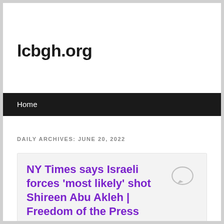lcbgh.org
Home
DAILY ARCHIVES: JUNE 20, 2022
NY Times says Israeli forces 'most likely' shot Shireen Abu Akleh | Freedom of the Press News